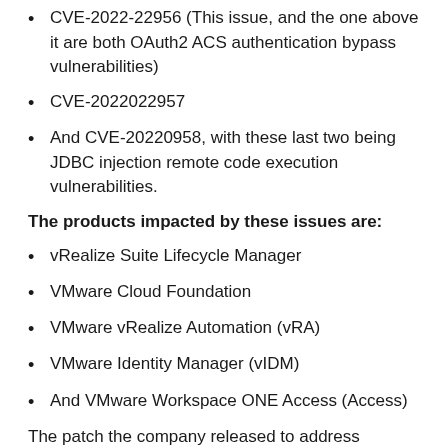CVE-2022-22956 (This issue, and the one above it are both OAuth2 ACS authentication bypass vulnerabilities)
CVE-2022022957
And CVE-20220958, with these last two being JDBC injection remote code execution vulnerabilities.
The products impacted by these issues are:
vRealize Suite Lifecycle Manager
VMware Cloud Foundation
VMware vRealize Automation (vRA)
VMware Identity Manager (vIDM)
And VMware Workspace ONE Access (Access)
The patch the company released to address